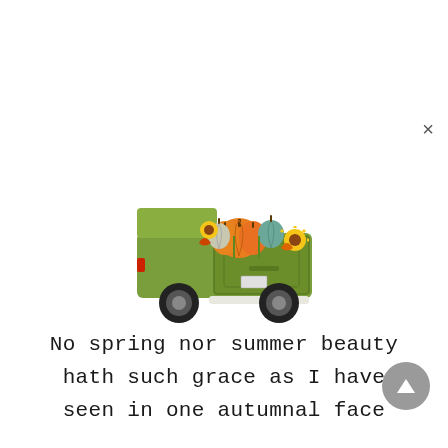[Figure (illustration): Illustration of a green vintage pickup truck viewed from the rear, with its bed filled with colorful autumn pumpkins (orange, white, green), sunflowers, and fall leaves]
No spring nor summer beauty hath such grace as I have seen in one autumnal face